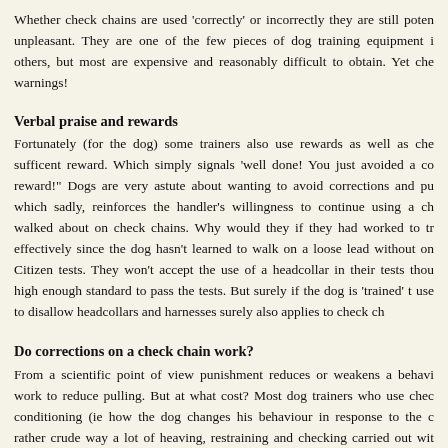Whether check chains are used 'correctly' or incorrectly they are still potentially unpleasant. They are one of the few pieces of dog training equipment in others, but most are expensive and reasonably difficult to obtain. Yet che warnings!
Verbal praise and rewards
Fortunately (for the dog) some trainers also use rewards as well as che sufficent reward. Which simply signals 'well done! You just avoided a co reward!" Dogs are very astute about wanting to avoid corrections and pu which sadly, reinforces the handler's willingness to continue using a ch walked about on check chains. Why would they if they had worked to tr effectively since the dog hasn't learned to walk on a loose lead without o Citizen tests. They won't accept the use of a headcollar in their tests thou high enough standard to pass the tests. But surely if the dog is 'trained' to use to disallow headcollars and harnesses surely also applies to check ch
Do corrections on a check chain work?
From a scientific point of view punishment reduces or weakens a behavi work to reduce pulling. But at what cost? Most dog trainers who use chec conditioning (ie how the dog changes his behaviour in response to the c rather crude way a lot of heaving, restraining and checking carried out wi positive reinforcement would be more effective and a more constructive w
Often it is seen as way of showing the dog who is boss. Showing the dog something more that just 'stop pulling'. It is that combative, confrontation viewed as out of date and harmful about the more traditional approaches gain physical superiority and needs to know who is 'boss'. No doubt it ste the 'pack leader', but in reality there is no evidence that this is the case.